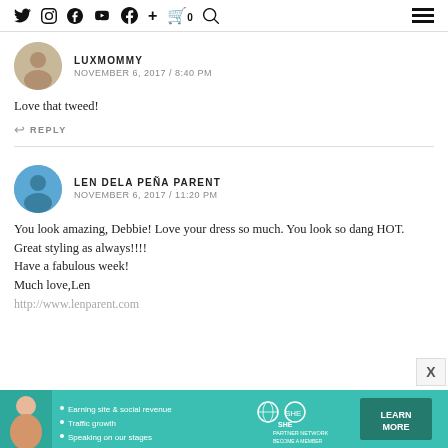Social media icons: Twitter, Instagram, Pinterest, YouTube, Facebook, Plus, Cart (0), Search, Menu
LUXMOMMY
NOVEMBER 6, 2017 / 8:40 PM
Love that tweed!
↩ REPLY
LEN DELA PEÑA PARENT
NOVEMBER 6, 2017 / 11:20 PM
You look amazing, Debbie! Love your dress so much. You look so dang HOT.
Great styling as always!!!!
Have a fabulous week!
Much love,Len
http://www.lenparent.com
[Figure (infographic): SHE Partner Network advertisement banner with teal background, photo of woman, bullet points about Earning site & social revenue, Traffic growth, Speaking on our stages, and a Learn More button]